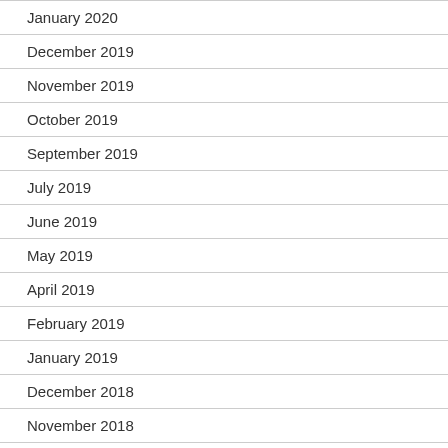January 2020
December 2019
November 2019
October 2019
September 2019
July 2019
June 2019
May 2019
April 2019
February 2019
January 2019
December 2018
November 2018